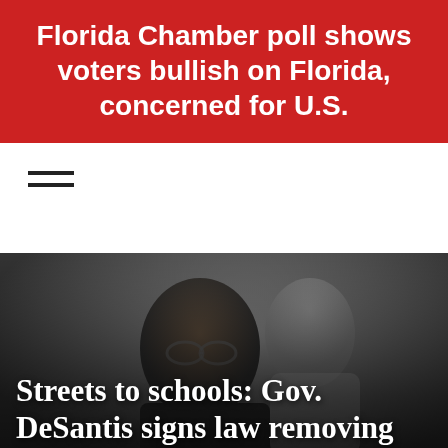Florida Chamber poll shows voters bullish on Florida, concerned for U.S.
[Figure (photo): Hamburger menu icon (three horizontal lines) for navigation]
[Figure (photo): Photograph of a Black woman speaking at what appears to be a public hearing or legislative session, with a blurred white man in background. Dark grey background.]
Streets to schools: Gov. DeSantis signs law removing education, program